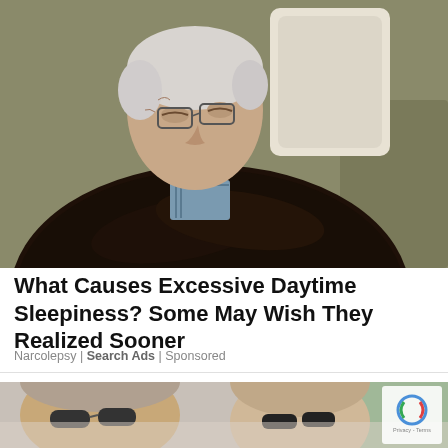[Figure (photo): Elderly man sleeping in an armchair with arms crossed, wearing a dark cable-knit sweater and plaid shirt, head resting on the chair back with a pillow visible]
What Causes Excessive Daytime Sleepiness? Some May Wish They Realized Sooner
Narcolepsy | Search Ads | Sponsored
[Figure (photo): Partially visible photo of people outdoors, with a reCAPTCHA verification badge overlaid in the bottom right corner showing Privacy - Terms text]